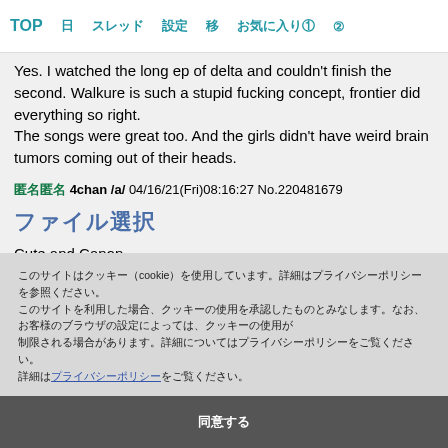TOP　　日　　スレッド　　設定　　移　　お気に入り①　　②
Yes. I watched the long ep of delta and couldn't finish the second. Walkure is such a stupid fucking concept, frontier did everything so right.
The songs were great too. And the girls didn't have weird brain tumors coming out of their heads.
匿名 4chan /a/ 04/16/21(Fri)08:16:27 No.220481679
ファイル選択
Cute and Canon
[Figure (photo): Partial image showing a curved surface, dark blue-gray tones with light bokeh circles in the upper left area.]
このサイトはクッキー（cookie）を使用しています。詳細はプライバシーポリシーを参照ください。このサイトを利用した場合、クッキーの使用を承認したものとみなします。なお、お客様のブラウザの設定によっては、クッキーの使用が制限される場合があります。詳細についてはプライバシーポリシーをご覧ください。同意する
同意する